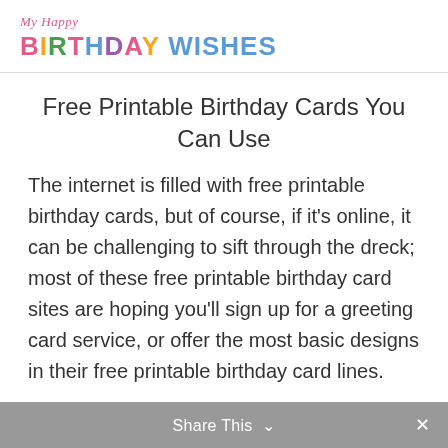My Happy Birthday Wishes
Free Printable Birthday Cards You Can Use
The internet is filled with free printable birthday cards, but of course, if it's online, it can be challenging to sift through the dreck; most of these free printable birthday card sites are hoping you'll sign up for a greeting card service, or offer the most basic designs in their free printable birthday card lines.
Share This  ✓  ×